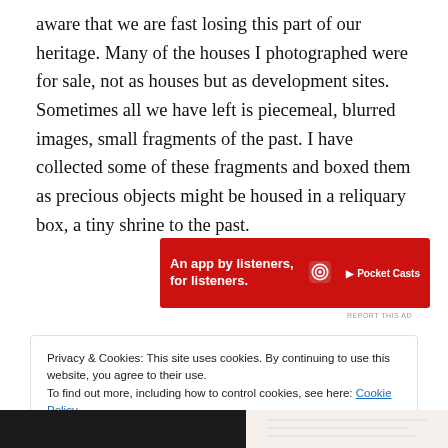aware that we are fast losing this part of our heritage. Many of the houses I photographed were for sale, not as houses but as development sites. Sometimes all we have left is piecemeal, blurred images, small fragments of the past. I have collected some of these fragments and boxed them as precious objects might be housed in a reliquary box, a tiny shrine to the past.
[Figure (other): Pocket Casts advertisement banner: red background with text 'An app by listeners, for listeners.' and Pocket Casts logo with a phone image]
REPORT THIS AD
Privacy & Cookies: This site uses cookies. By continuing to use this website, you agree to their use.
To find out more, including how to control cookies, see here: Cookie Policy
[Figure (photo): Partial bottom image strip showing dark objects on left and a light-colored document or paper on right]